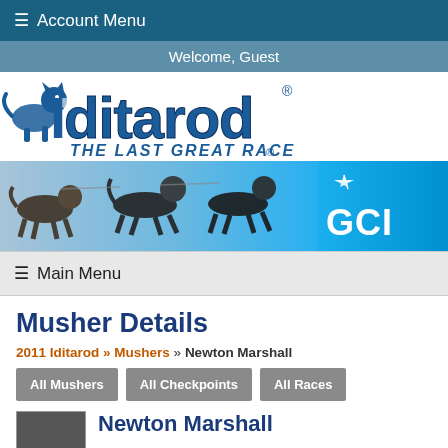≡ Account Menu
Welcome, Guest
[Figure (logo): Iditarod - The Last Great Race logo with husky dog icon and stylized blue text]
[Figure (photo): GCI sponsored banner showing sled dogs running with blue gradient background and GCI logo]
≡ Main Menu
Musher Details
2011 Iditarod » Mushers » Newton Marshall
All Mushers
All Checkpoints
All Races
Newton Marshall